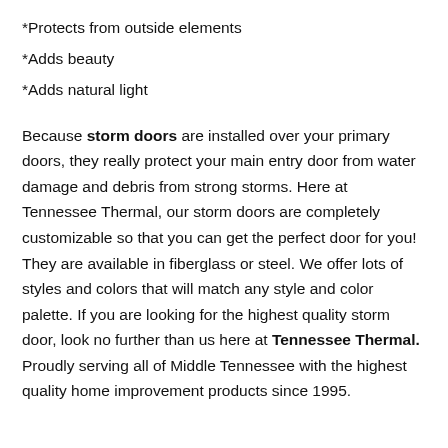*Protects from outside elements
*Adds beauty
*Adds natural light
Because storm doors are installed over your primary doors, they really protect your main entry door from water damage and debris from strong storms. Here at Tennessee Thermal, our storm doors are completely customizable so that you can get the perfect door for you! They are available in fiberglass or steel. We offer lots of styles and colors that will match any style and color palette. If you are looking for the highest quality storm door, look no further than us here at Tennessee Thermal. Proudly serving all of Middle Tennessee with the highest quality home improvement products since 1995.